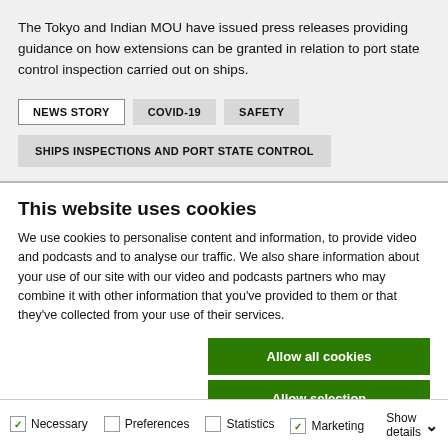The Tokyo and Indian MOU have issued press releases providing guidance on how extensions can be granted in relation to port state control inspection carried out on ships.
NEWS STORY
COVID-19
SAFETY
SHIPS INSPECTIONS AND PORT STATE CONTROL
This website uses cookies
We use cookies to personalise content and information, to provide video and podcasts and to analyse our traffic. We also share information about your use of our site with our video and podcasts partners who may combine it with other information that you've provided to them or that they've collected from your use of their services.
Allow all cookies
Allow selection
Use necessary cookies only
Necessary   Preferences   Statistics   Marketing   Show details